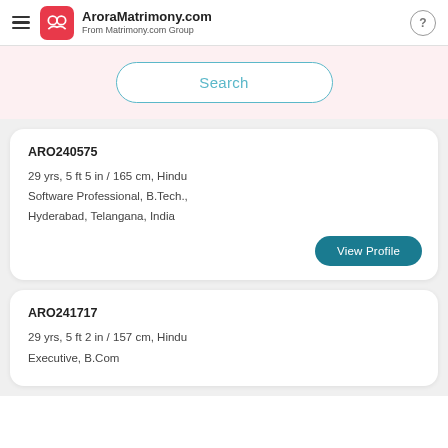AroraMatrimony.com — From Matrimony.com Group
Search
ARO240575
29 yrs, 5 ft 5 in / 165 cm, Hindu
Software Professional, B.Tech.,
Hyderabad, Telangana, India
View Profile
ARO241717
29 yrs, 5 ft 2 in / 157 cm, Hindu
Executive, B.Com